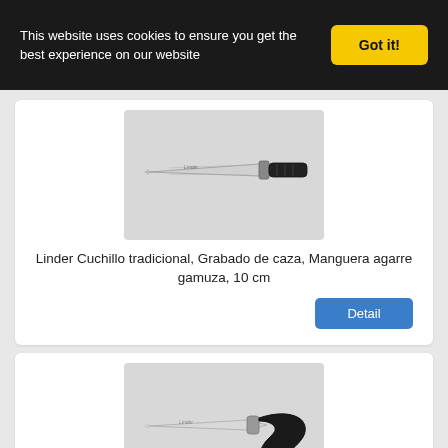This website uses cookies to ensure you get the best experience on our website
Got it!
[Figure (photo): Linder traditional knife with hunting engraving and chamois leather grip handle, 10 cm blade]
Linder Cuchillo tradicional, Grabado de caza, Manguera agarre gamuza, 10 cm
Detail
[Figure (photo): Linder traditional knife with curved black handle, Mango potente gams, 10 cm blade]
Linder Cuchillo tradicional, Mango potente gams 10 cm
Detail